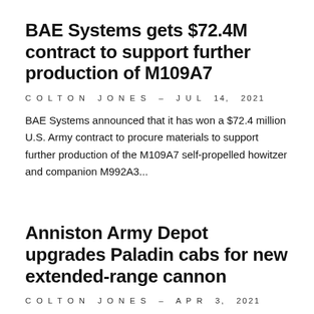BAE Systems gets $72.4M contract to support further production of M109A7
COLTON JONES – JUL 14, 2021
BAE Systems announced that it has won a $72.4 million U.S. Army contract to procure materials to support further production of the M109A7 self-propelled howitzer and companion M992A3...
Anniston Army Depot upgrades Paladin cabs for new extended-range cannon
COLTON JONES – APR 3, 2021
The Anniston Army Depot announced it has recently completed the modification of two cabs for the Army's range-doubling new artillery weapon, called Extended Range Cannon Artillery (ERCA). In...